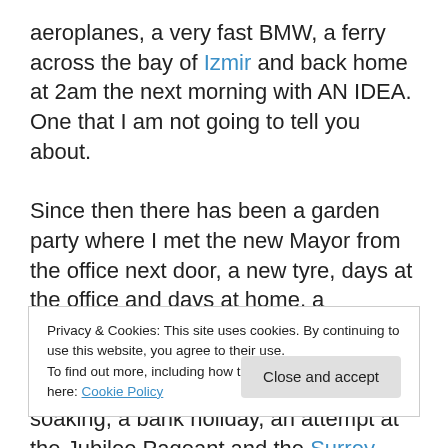aeroplanes, a very fast BMW, a ferry across the bay of Izmir and back home at 2am the next morning with AN IDEA. One that I am not going to tell you about.

Since then there has been a garden party where I met the new Mayor from the office next door, a new tyre, days at the office and days at home, a Grandparent's Day at Manby Lodge School, an extraction and new dentures I can't wear yet, sunburn and a soaking, a bank holiday, an attempt at the Jubilee Pageant and the Surrey Country Show . Life has been very, very busy and I havn't given
Privacy & Cookies: This site uses cookies. By continuing to use this website, you agree to their use.
To find out more, including how to control cookies, see here: Cookie Policy
Close and accept